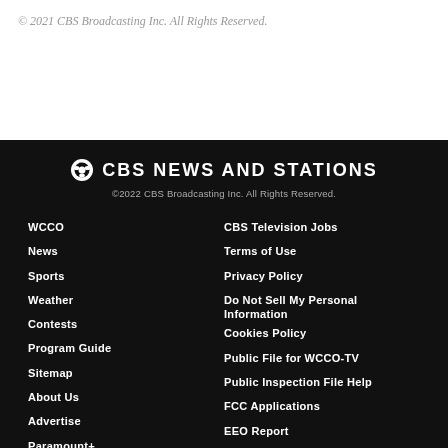© 2021 CBS Broadcasting Inc. All Rights Reserved.
[Figure (logo): CBS News and Stations logo with CBS eye icon]
©2022 CBS Broadcasting Inc. All Rights Reserved.
WCCO
News
Sports
Weather
Contests
Program Guide
Sitemap
About Us
Advertise
Paramount+
CBS Television Jobs
Terms of Use
Privacy Policy
Do Not Sell My Personal Information
Cookies Policy
Public File for WCCO-TV
Public Inspection File Help
FCC Applications
EEO Report